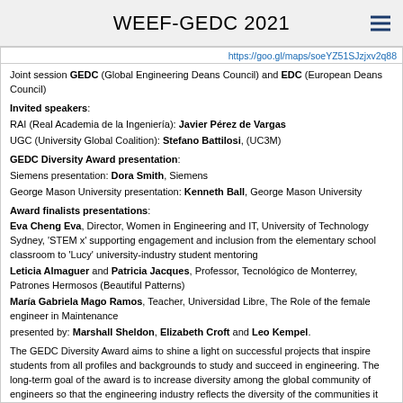WEEF-GEDC 2021
https://goo.gl/maps/soeYZ51SJzjxv2q88
Joint session GEDC (Global Engineering Deans Council) and EDC (European Deans Council)
Invited speakers:
RAI (Real Academia de la Ingeniería): Javier Pérez de Vargas
UGC (University Global Coalition): Stefano Battilosi, (UC3M)
GEDC Diversity Award presentation:
Siemens presentation: Dora Smith, Siemens
George Mason University presentation: Kenneth Ball, George Mason University
Award finalists presentations:
Eva Cheng Eva, Director, Women in Engineering and IT, University of Technology Sydney, 'STEM x' supporting engagement and inclusion from the elementary school classroom to 'Lucy' university-industry student mentoring
Leticia Almaguer and Patricia Jacques, Professor, Tecnológico de Monterrey, Patrones Hermosos (Beautiful Patterns)
María Gabriela Mago Ramos, Teacher, Universidad Libre, The Role of the female engineer in Maintenance
presented by: Marshall Sheldon, Elizabeth Croft and Leo Kempel.
The GEDC Diversity Award aims to shine a light on successful projects that inspire students from all profiles and backgrounds to study and succeed in engineering. The long-term goal of the award is to increase diversity among the global community of engineers so that the engineering industry reflects the diversity of the communities it supports, with diversity recognized as a driver for innovation and growth. Join the GEDC in celebrating the 2021 Diversity Award Finalists and learn about their important initiatives. The 2021 Diversity Award Recipient will be announced in this session after final deliberation.